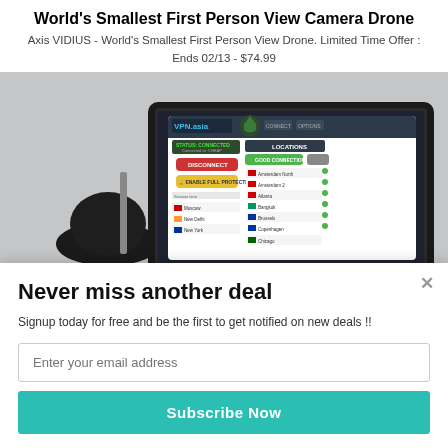World's Smallest First Person View Camera Drone
Axis VIDIUS - World's Smallest First Person View Drone. Limited Time Offer : Ends 02/13 - $74.99
[Figure (screenshot): Screenshot of a VPN.asia software interface showing a connected status, disconnect button, enable full protection button, and a list of server locations including Moscow, New Delhi, New York, Auckland, Atlanta, Bangkok, Brussels, Chicago, Copenhagen, etc.]
Never miss another deal
Signup today for free and be the first to get notified on new deals !!
Enter your email address
Subscribe Now